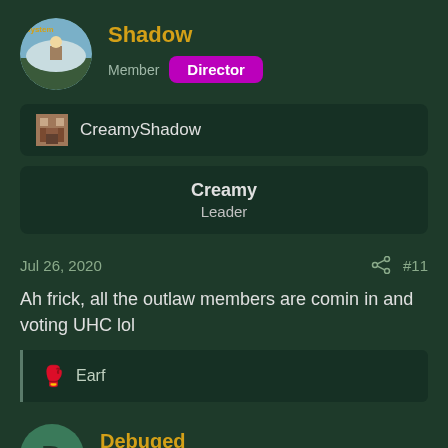Shadow
Member · Director
CreamyShadow
Creamy
Leader
Jul 26, 2020  #11
Ah frick, all the outlaw members are comin in and voting UHC lol
🥊 Earf
Debuged
New member